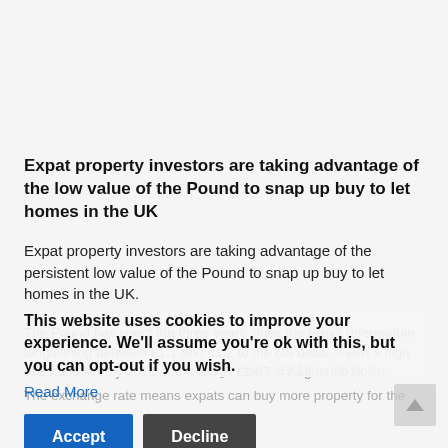Expat property investors are taking advantage of the low value of the Pound to snap up buy to let homes in the UK
Expat property investors are taking advantage of the persistent low value of the Pound to snap up buy to let homes in the UK.
The Pound has spent the three years since the Brexit referendum languishing between £1.1 and £1.2 to the US dollar – with a high of £1.195 in July 2016 and a low of £1.07 in August 2019.
This website uses cookies to improve your experience. We'll assume you're ok with this, but you can opt-out if you wish.
Read More
The current exchange rate is £1.12 to the dollar.
The exchange rate means expats can buy more property for the